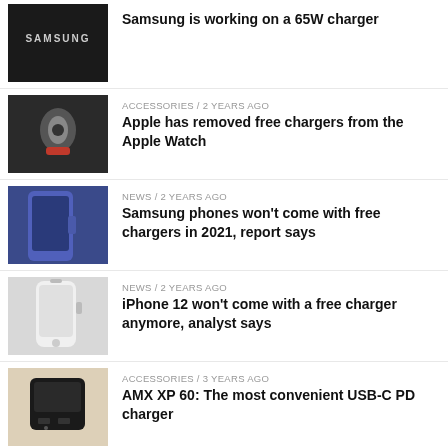[Figure (photo): Samsung logo on dark background]
Samsung is working on a 65W charger
[Figure (photo): Apple Watch with red band on wrist]
ACCESSORIES / 2 years ago
Apple has removed free chargers from the Apple Watch
[Figure (photo): Blue Samsung phone edge]
NEWS / 2 years ago
Samsung phones won't come with free chargers in 2021, report says
[Figure (photo): White iPhone SE held in hand]
NEWS / 2 years ago
iPhone 12 won't come with a free charger anymore, analyst says
[Figure (photo): AMX XP 60 black USB-C PD charger]
ACCESSORIES / 3 years ago
AMX XP 60: The most convenient USB-C PD charger